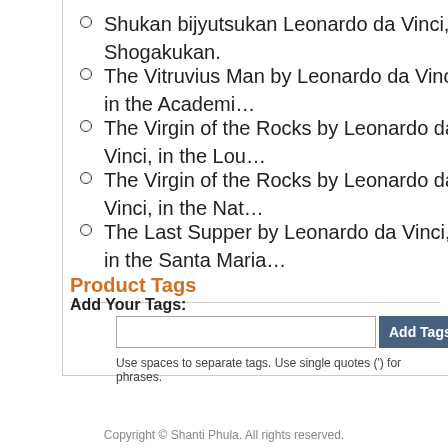Shukan bijyutsukan Leonardo da Vinci, Shogakukan.
The Vitruvius Man by Leonardo da Vinci, in the Academi…
The Virgin of the Rocks by Leonardo da Vinci, in the Lou…
The Virgin of the Rocks by Leonardo da Vinci, in the Nat…
The Last Supper by Leonardo da Vinci, in the Santa Maria…
Product Tags
Add Your Tags:
Use spaces to separate tags. Use single quotes (') for phrases.
Copyright © Shanti Phula. All rights reserved.